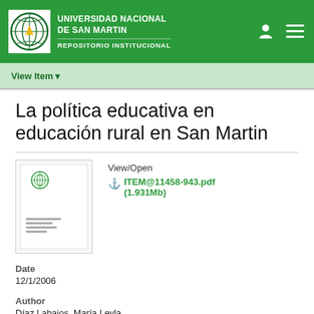UNIVERSIDAD NACIONAL DE SAN MARTIN
REPOSITORIO INSTITUCIONAL
La política educativa en educación rural en San Martin
[Figure (other): Thumbnail image of document cover page]
View/Open
ITEM@11458-943.pdf (1.931Mb)
Date
12/1/2006
Author
Díaz Labajos, María Leyla